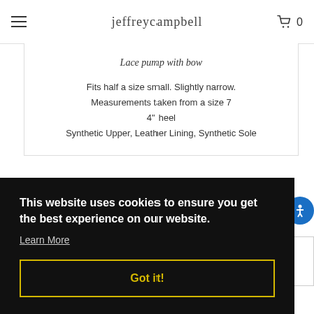jeffreycampbell  0
Lace pump with bow
Fits half a size small. Slightly narrow.
Measurements taken from a size 7
4" heel
Synthetic Upper, Leather Lining, Synthetic Sole
This website uses cookies to ensure you get the best experience on our website.
Learn More
Got it!